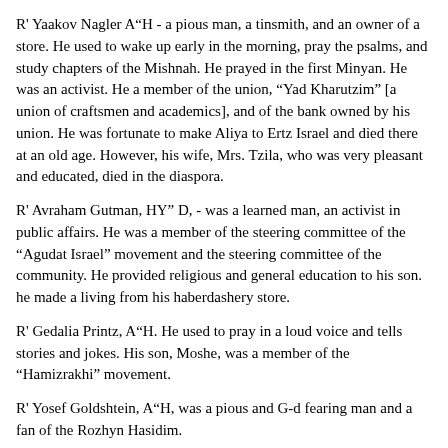R' Yaakov Nagler A“H - a pious man, a tinsmith, and an owner of a store. He used to wake up early in the morning, pray the psalms, and study chapters of the Mishnah. He prayed in the first Minyan. He was an activist. He a member of the union, “Yad Kharutzim” [a union of craftsmen and academics], and of the bank owned by his union. He was fortunate to make Aliya to Ertz Israel and died there at an old age. However, his wife, Mrs. Tzila, who was very pleasant and educated, died in the diaspora.
R' Avraham Gutman, HY” D, - was a learned man, an activist in public affairs. He was a member of the steering committee of the “Agudat Israel” movement and the steering committee of the community. He provided religious and general education to his son. he made a living from his haberdashery store.
R' Gedalia Printz, A“H. He used to pray in a loud voice and tells stories and jokes. His son, Moshe, was a member of the “Hamizrakhi” movement.
R' Yosef Goldshtein, A“H, was a pious and G-d fearing man and a fan of the Rozhyn Hasidim.
R' Yosef Hollander, A“H, - was a pious man. He was reading from a Torah. He liked to tell stories.